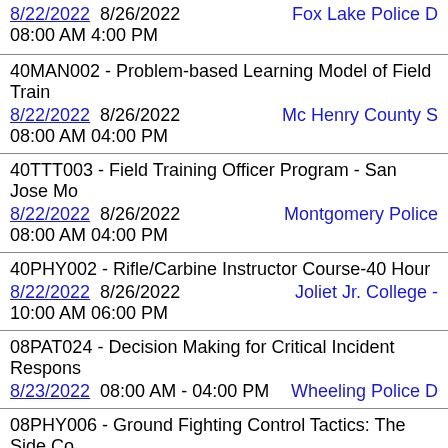8/22/2022  8/26/2022  Fox Lake Police D
08:00 AM 4:00 PM
40MAN002 - Problem-based Learning Model of Field Train
8/22/2022  8/26/2022  Mc Henry County S
08:00 AM  04:00 PM
40TTT003 - Field Training Officer Program - San Jose Mo
8/22/2022  8/26/2022  Montgomery Police
08:00 AM  04:00 PM
40PHY002 - Rifle/Carbine Instructor Course-40 Hour
8/22/2022  8/26/2022  Joliet Jr. College -
10:00 AM  06:00 PM
08PAT024 - Decision Making for Critical Incident Respons
8/23/2022  08:00 AM - 04:00 PM  Wheeling Police D
08PHY006 - Ground Fighting Control Tactics: The Side Co
8/23/2022  08:00 AM - 04:00 PM  Oswego Police De